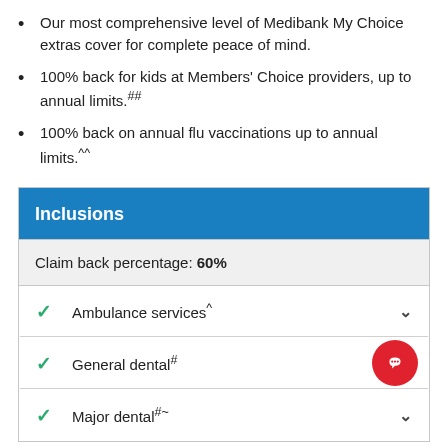Our most comprehensive level of Medibank My Choice extras cover for complete peace of mind.
100% back for kids at Members' Choice providers, up to annual limits.##
100% back on annual flu vaccinations up to annual limits.^^
| Inclusions |
| --- |
| Claim back percentage: 60% |
| ✓ Ambulance services^ |  |
| ✓ General dental# |  |
| ✓ Major dental#~ |  |